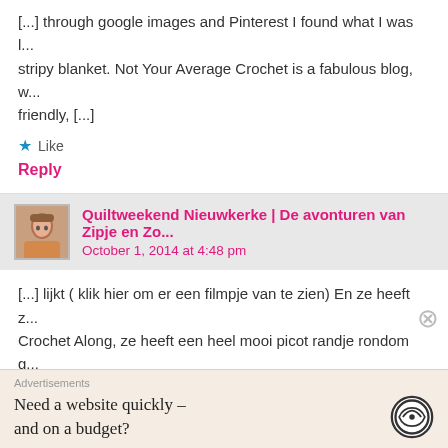[...] through google images and Pinterest I found what I was l... stripy blanket. Not Your Average Crochet is a fabulous blog, w... friendly, [...]
★ Like
Reply
Quiltweekend Nieuwkerke | De avonturen van Zipje en Zo...
October 1, 2014 at 4:48 pm
[...] lijkt ( klik hier om er een filmpje van te zien) En ze heeft z... Crochet Along, ze heeft een heel mooi picot randje rondom g... mijne ligt [...]
★ Like
Reply
Advertisements
Need a website quickly – and on a budget?